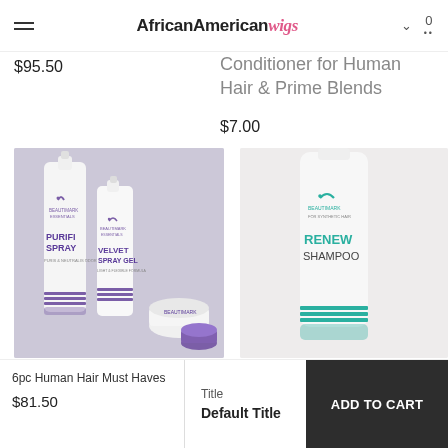AfricanAmerican wigs
$95.50
Conditioner for Human Hair & Prime Blends
$7.00
[Figure (photo): Beautimark Essentials hair care products including Purifi Spray and Velvet Spray Gel bottles on lavender background]
[Figure (photo): Beautimark Renew Shampoo bottle on light background]
6pc Human Hair Must Haves
$81.50
Title
Default Title
ADD TO CART